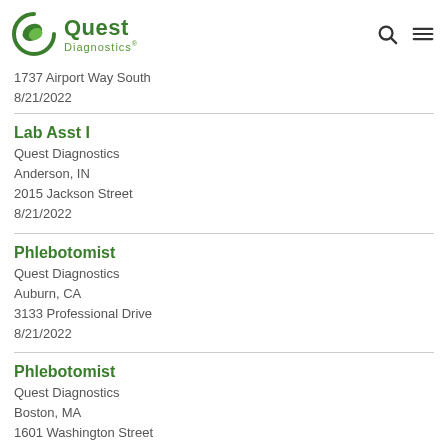Quest Diagnostics
1737 Airport Way South
8/21/2022
Lab Asst I
Quest Diagnostics
Anderson, IN
2015 Jackson Street
8/21/2022
Phlebotomist
Quest Diagnostics
Auburn, CA
3133 Professional Drive
8/21/2022
Phlebotomist
Quest Diagnostics
Boston, MA
1601 Washington Street
8/21/2022
Patient Services Rep II
Quest Diagnostics